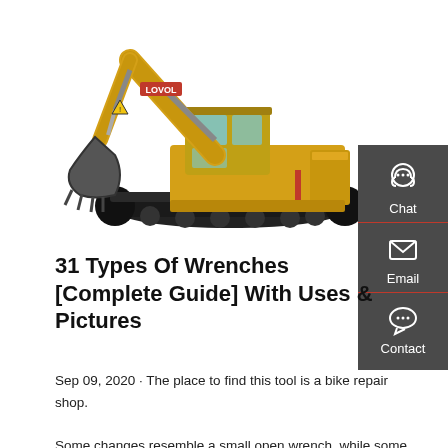[Figure (photo): Yellow LOVOL excavator (tracked hydraulic excavator) on a white background, arm extended with bucket lowered]
[Figure (infographic): Dark grey sidebar panel with Chat (headset icon), Email (envelope icon), and Contact (speech bubble icon) options]
31 Types Of Wrenches [Complete Guide] With Uses & Pictures
Sep 09, 2020 · The place to find this tool is a bike repair shop. Some changes resemble a small open wrench, while some look more like curved, flat metal. 21. Spanner Wrench.